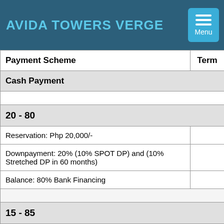AVIDA TOWERS VERGE
| Payment Scheme | Term |
| --- | --- |
| Cash Payment |  |
|  |  |
| 20 - 80 |  |
| Reservation: Php 20,000/- |  |
| Downpayment: 20% (10% SPOT DP) and (10% Stretched DP in 60 months) |  |
| Balance: 80% Bank Financing |  |
|  |  |
| 15 - 85 |  |
| Reservation: Php 20,000/- |  |
| Downpayment: 15% in 60 months |  |